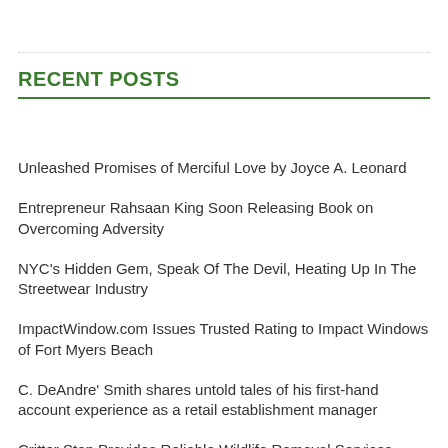RECENT POSTS
Unleashed Promises of Merciful Love by Joyce A. Leonard
Entrepreneur Rahsaan King Soon Releasing Book on Overcoming Adversity
NYC's Hidden Gem, Speak Of The Devil, Heating Up In The Streetwear Industry
ImpactWindow.com Issues Trusted Rating to Impact Windows of Fort Myers Beach
C. DeAndre' Smith shares untold tales of his first-hand account experience as a retail establishment manager
Critter Stop Provides Reliable Wildlife Removal Services
CMR Construction Group Highlights The Benefits of Hiring a Professional Home Remodeler